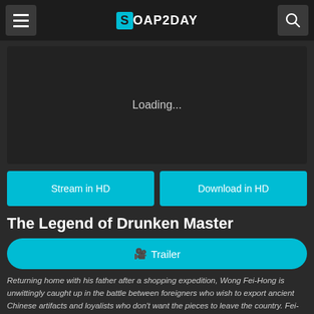Soap2Day
[Figure (screenshot): Video player area showing Loading... text on dark background]
Stream in HD
Download in HD
The Legend of Drunken Master
Trailer
Returning home with his father after a shopping expedition, Wong Fei-Hong is unwittingly caught up in the battle between foreigners who wish to export ancient Chinese artifacts and loyalists who don't want the pieces to leave the country. Fei-Hong must fight against the foreigners using his Drunken Boxing style, and overcome his father's antagonism as well.